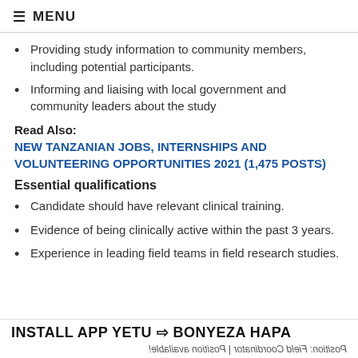≡  MENU
Providing study information to community members, including potential participants.
Informing and liaising with local government and community leaders about the study
Read Also:
NEW TANZANIAN JOBS, INTERNSHIPS AND VOLUNTEERING OPPORTUNITIES 2021 (1,475 POSTS)
Essential qualifications
Candidate should have relevant clinical training.
Evidence of being clinically active within the past 3 years.
Experience in leading field teams in field research studies.
INSTALL APP YETU ⇒ BONYEZA HAPA
Position: Field Coordinator | Position available!